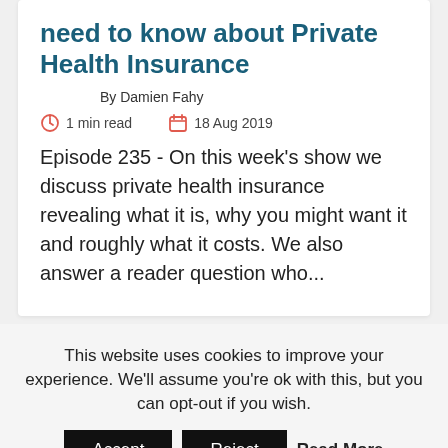need to know about Private Health Insurance
By Damien Fahy
1 min read   18 Aug 2019
Episode 235 - On this week's show we discuss private health insurance revealing what it is, why you might want it and roughly what it costs. We also answer a reader question who...
This website uses cookies to improve your experience. We'll assume you're ok with this, but you can opt-out if you wish.
Accept  Reject  Read More